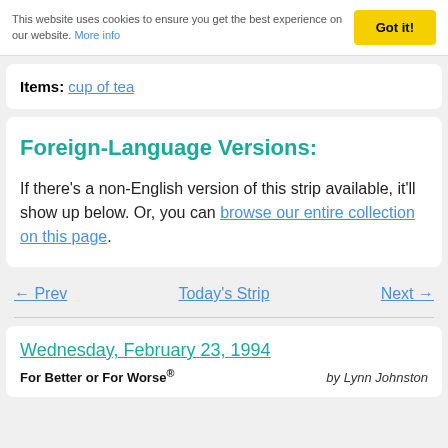This website uses cookies to ensure you get the best experience on our website. More info  Got it!
Items: cup of tea
Foreign-Language Versions:
If there's a non-English version of this strip available, it'll show up below. Or, you can browse our entire collection on this page.
← Prev   Today's Strip   Next →
Wednesday, February 23, 1994
For Better or For Worse®   by Lynn Johnston